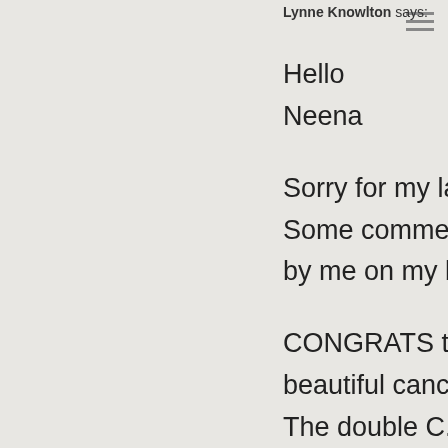Lynne Knowlton says:
Hello Neena

Sorry for my late reply. Some comments slipped by me on my bloggy.

CONGRATS to you for your beautiful cancer survival. The double C. Oy.